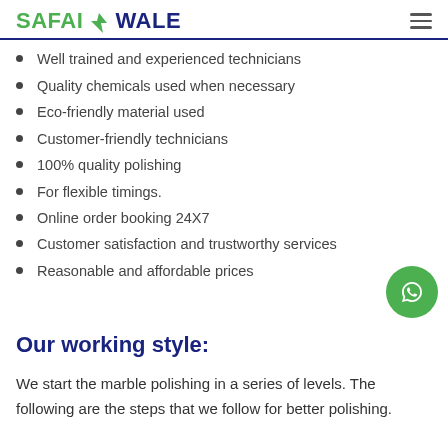SAFAIWALE
Well trained and experienced technicians
Quality chemicals used when necessary
Eco-friendly material used
Customer-friendly technicians
100% quality polishing
For flexible timings.
Online order booking 24X7
Customer satisfaction and trustworthy services
Reasonable and affordable prices
Our working style:
We start the marble polishing in a series of levels. The following are the steps that we follow for better polishing.